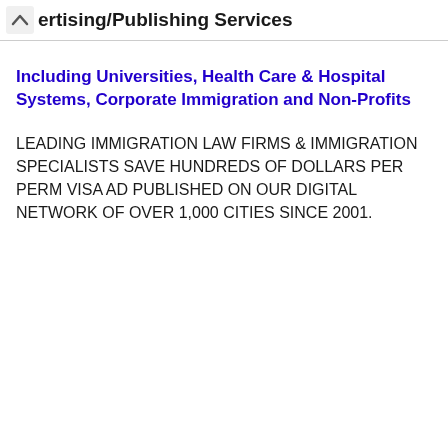ertising/Publishing Services
Including Universities, Health Care & Hospital Systems, Corporate Immigration and Non-Profits
LEADING IMMIGRATION LAW FIRMS & IMMIGRATION SPECIALISTS SAVE HUNDREDS OF DOLLARS PER PERM VISA AD PUBLISHED ON OUR DIGITAL NETWORK OF OVER 1,000 CITIES SINCE 2001.